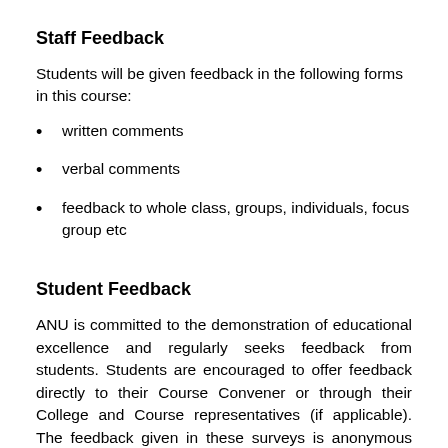Staff Feedback
Students will be given feedback in the following forms in this course:
written comments
verbal comments
feedback to whole class, groups, individuals, focus group etc
Student Feedback
ANU is committed to the demonstration of educational excellence and regularly seeks feedback from students. Students are encouraged to offer feedback directly to their Course Convener or through their College and Course representatives (if applicable). The feedback given in these surveys is anonymous and provides the Colleges, University Education Committee and Academic Board with